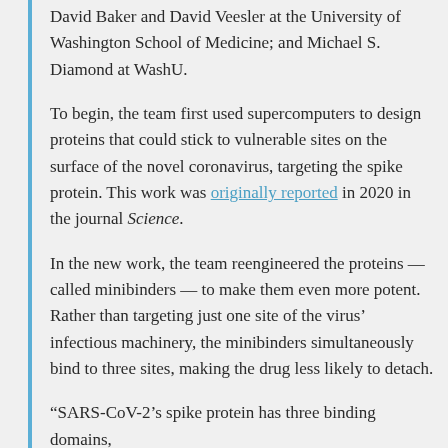David Baker and David Veesler at the University of Washington School of Medicine; and Michael S. Diamond at WashU.
To begin, the team first used supercomputers to design proteins that could stick to vulnerable sites on the surface of the novel coronavirus, targeting the spike protein. This work was originally reported in 2020 in the journal Science.
In the new work, the team reengineered the proteins — called minibinders — to make them even more potent. Rather than targeting just one site of the virus' infectious machinery, the minibinders simultaneously bind to three sites, making the drug less likely to detach.
“SARS-CoV-2’s spike protein has three binding domains,